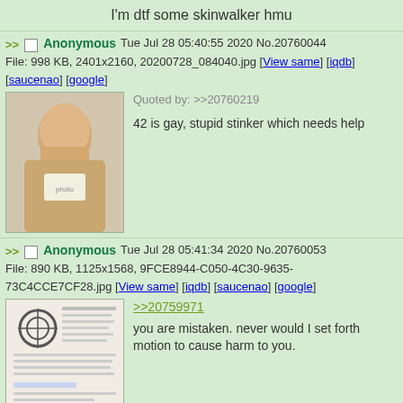I'm dtf some skinwalker hmu
>> Anonymous Tue Jul 28 05:40:55 2020 No.20760044
File: 998 KB, 2401x2160, 20200728_084040.jpg [View same] [iqdb] [saucenao] [google]
Quoted by: >>20760219
42 is gay, stupid stinker which needs help
>> Anonymous Tue Jul 28 05:41:34 2020 No.20760053
File: 890 KB, 1125x1568, 9FCE8944-C050-4C30-9635-73C4CCE7CF28.jpg [View same] [iqdb] [saucenao] [google]
>>20759971
you are mistaken. never would I set forth motion to cause harm to you.
>> Anonymous Tue Jul 28 05:51:19 2020 No.20760219
File: 591 KB, 705x504, FBF2AEB1-AD53-438C-B208-